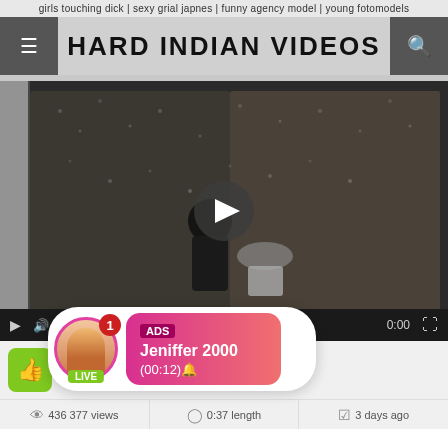girls touching dick | sexy grial japnes | funny agency model | young fotomodels
HARD INDIAN VIDEOS
[Figure (screenshot): Video thumbnail showing two people in a corridor/stairwell, viewed from above. A play button overlay is visible in the center.]
[Figure (screenshot): Ad popup overlay showing a profile avatar with LIVE badge, notification badge showing 1, and pink gradient box with ADS label, name Jeniffer 2000, and time (00:12)]
ADS
Jeniffer 2000
(00:12)🔔
436 377 views   0:37 length   3 days ago